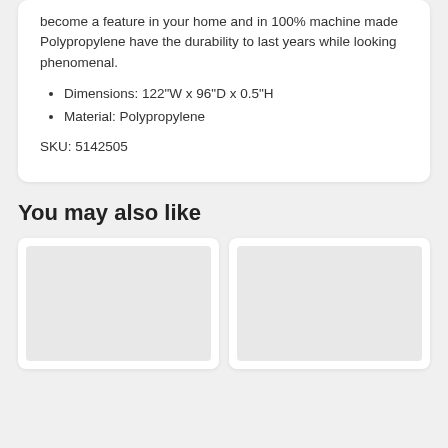become a feature in your home and in 100% machine made Polypropylene have the durability to last years while looking phenomenal.
Dimensions: 122"W x 96"D x 0.5"H
Material: Polypropylene
SKU: 5142505
You may also like
[Figure (photo): Product image placeholder (light gray box) - left card]
[Figure (photo): Product image placeholder (light gray box) - right card]